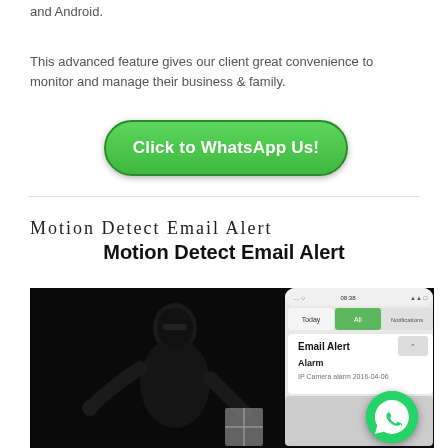and Android.
This advanced feature gives our client great convenience to monitor and manage their business & family.
[Figure (other): Green rounded button with white text 'Click to WhatsApp Us!']
Motion Detect Email Alert
Motion Detect Email Alert
[Figure (photo): Photo showing a burglar in black clothing on the left side and a smartphone screen showing an Email Alert notification with 'Alarm - IP Camera alarm 2016-04-06' on the right side. A WhatsApp floating action button is visible in the bottom right corner.]